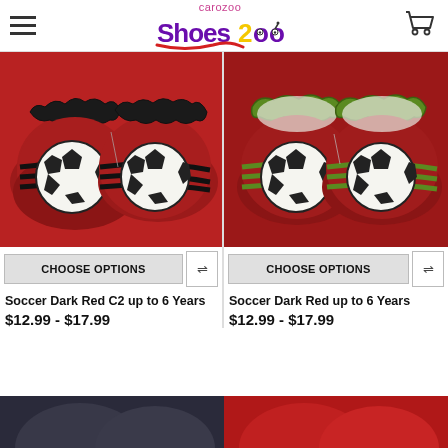carozoo ShoesZoo - navigation header with logo and cart
[Figure (photo): Two dark red baby shoes with soccer ball design and black stripes (Soccer Dark Red C2)]
CHOOSE OPTIONS
Soccer Dark Red C2 up to 6 Years
$12.99 - $17.99
[Figure (photo): Two dark red baby shoes with soccer ball design and green stripes (Soccer Dark Red)]
CHOOSE OPTIONS
Soccer Dark Red up to 6 Years
$12.99 - $17.99
[Figure (photo): Partially visible baby shoes at bottom of page - dark colored pair on left, red pair on right]